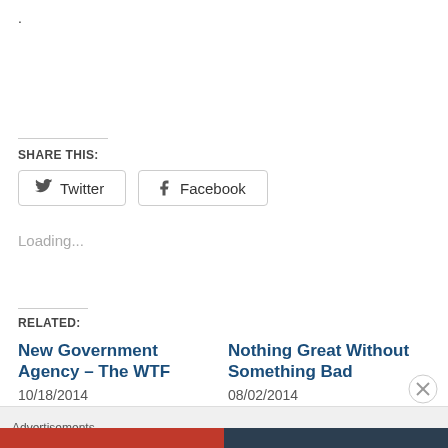.
SHARE THIS:
Twitter
Facebook
Loading...
RELATED:
New Government Agency – The WTF
10/18/2014
In "Whimsical"
Nothing Great Without Something Bad
08/02/2014
In "Ancestry"
Advertisements